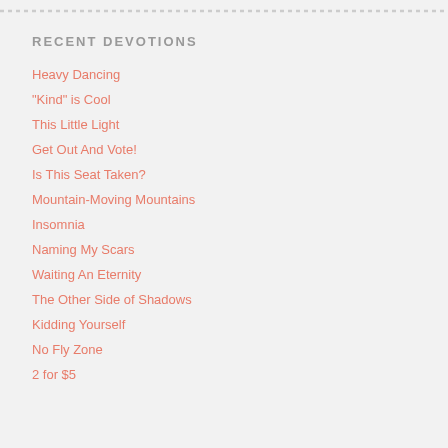RECENT DEVOTIONS
Heavy Dancing
“Kind” is Cool
This Little Light
Get Out And Vote!
Is This Seat Taken?
Mountain-Moving Mountains
Insomnia
Naming My Scars
Waiting An Eternity
The Other Side of Shadows
Kidding Yourself
No Fly Zone
2 for $5